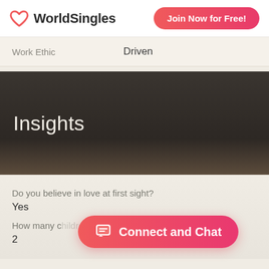[Figure (logo): WorldSingles logo with pink heart icon and dark bold text]
Join Now for Free!
| Work Ethic | Driven |
| --- | --- |
Insights
Do you believe in love at first sight?
Yes
How many children do you have?
2
Connect and Chat